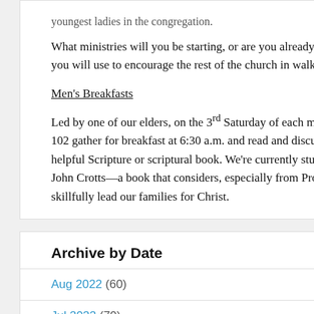youngest ladies in the congregation.
What ministries will you be starting, or are you already participating in, that you will use to encourage the rest of the church in walking with the Lord?
Men's Breakfasts
Led by one of our elders, on the 3rd Saturday of each month, men ages 2-102 gather for breakfast at 6:30 a.m. and read and discuss some profoundly helpful Scripture or scriptural book. We're currently studying Craftsmen by John Crotts—a book that considers, especially from Proverbs, how we may skillfully lead our families for Christ.
Archive by Date
Aug 2022 (60)
Jul 2022 (70)